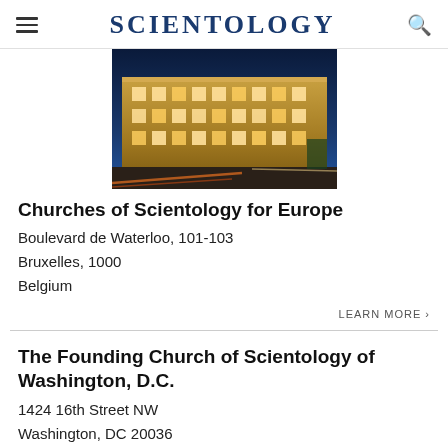SCIENTOLOGY
[Figure (photo): Nighttime photo of a large European-style building illuminated with warm golden lights, with light trails from traffic visible on the street.]
Churches of Scientology for Europe
Boulevard de Waterloo, 101-103
Bruxelles, 1000
Belgium
LEARN MORE ›
The Founding Church of Scientology of Washington, D.C.
1424 16th Street NW
Washington, DC 20036